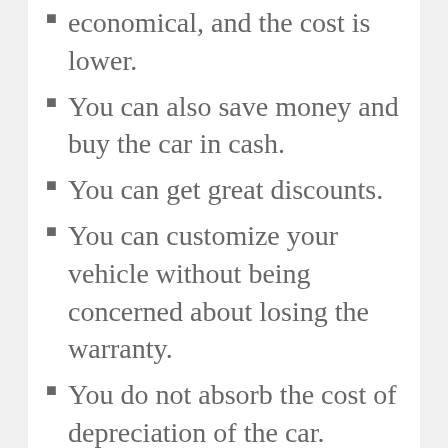economical, and the cost is lower.
You can also save money and buy the car in cash.
You can get great discounts.
You can customize your vehicle without being concerned about losing the warranty.
You do not absorb the cost of depreciation of the car.
The value of your new car goes down by 11% from the time you leave the dealership. By the end of the first year, your new vehicle devalues by as much